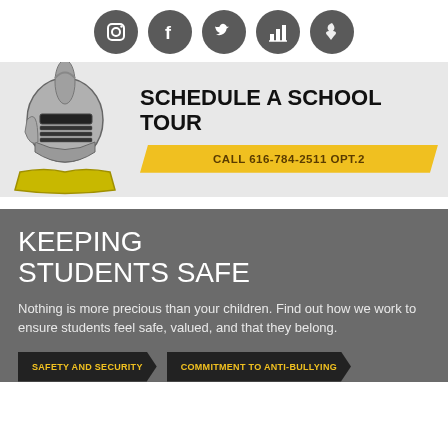[Figure (infographic): Row of five dark gray circular social media / app icons: Instagram, Facebook, Twitter, a bar chart icon, and a Michigan state shape icon]
[Figure (infographic): Banner with light gray background showing a knight mascot illustration on the left and bold black text 'SCHEDULE A SCHOOL TOUR' on the right, with a yellow ribbon badge reading 'CALL 616-784-2511 OPT.2']
KEEPING STUDENTS SAFE
Nothing is more precious than your children. Find out how we work to ensure students feel safe, valued, and that they belong.
SAFETY AND SECURITY
COMMITMENT TO ANTI-BULLYING